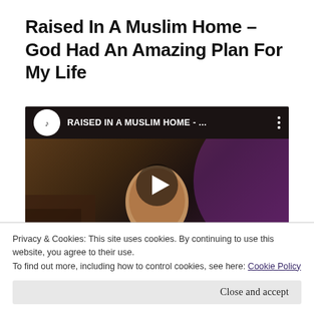Raised In A Muslim Home – God Had An Amazing Plan For My Life
[Figure (screenshot): YouTube video thumbnail showing a young man in a grey shirt seated in front of a dark background with purple lighting. The video title bar reads 'RAISED IN A MUSLIM HOME - ...' with a channel logo and three-dot menu. A play button triangle is overlaid in the center.]
Privacy & Cookies: This site uses cookies. By continuing to use this website, you agree to their use.
To find out more, including how to control cookies, see here: Cookie Policy
Close and accept